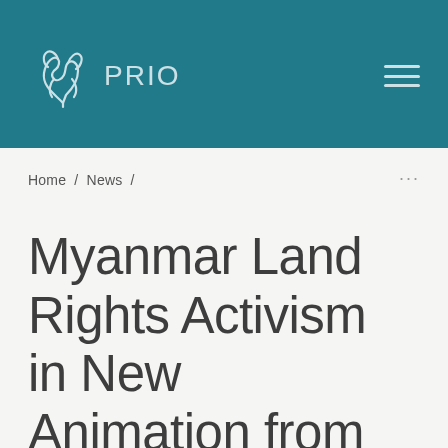PRIO
Home / News /
Myanmar Land Rights Activism in New Animation from PRIO